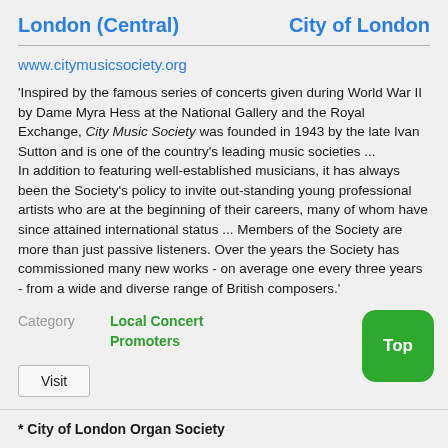London (Central)    City of London
www.citymusicsociety.org
'Inspired by the famous series of concerts given during World War II by Dame Myra Hess at the National Gallery and the Royal Exchange, City Music Society was founded in 1943 by the late Ivan Sutton and is one of the country's leading music societies ... In addition to featuring well-established musicians, it has always been the Society's policy to invite out-standing young professional artists who are at the beginning of their careers, many of whom have since attained international status ... Members of the Society are more than just passive listeners. Over the years the Society has commissioned many new works - on average one every three years - from a wide and diverse range of British composers.'
Category   Local Concert Promoters
Visit
Top
* City of London Organ Society